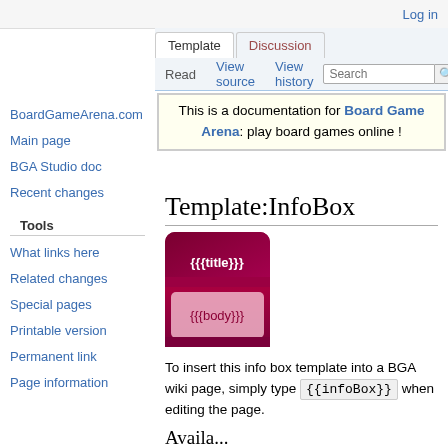Log in
Template | Discussion | Read | View source | View history | Search
This is a documentation for Board Game Arena: play board games online !
Template:InfoBox
[Figure (illustration): InfoBox template preview showing a dark red rounded box with '{{{title}}}' in the header row and '{{{body}}}' in the body row]
To insert this info box template into a BGA wiki page, simply type {{infoBox}} when editing the page.
Availa...
BoardGameArena.com
Main page
BGA Studio doc
Recent changes
Tools
What links here
Related changes
Special pages
Printable version
Permanent link
Page information